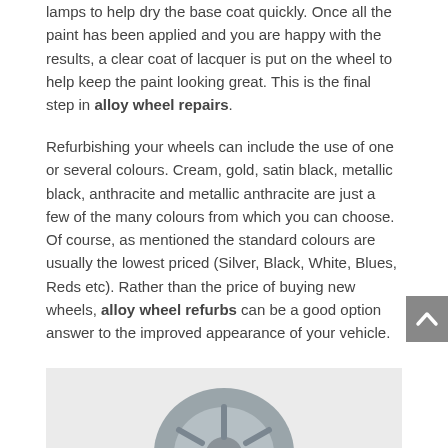lamps to help dry the base coat quickly. Once all the paint has been applied and you are happy with the results, a clear coat of lacquer is put on the wheel to help keep the paint looking great. This is the final step in alloy wheel repairs.
Refurbishing your wheels can include the use of one or several colours. Cream, gold, satin black, metallic black, anthracite and metallic anthracite are just a few of the many colours from which you can choose. Of course, as mentioned the standard colours are usually the lowest priced (Silver, Black, White, Blues, Reds etc). Rather than the price of buying new wheels, alloy wheel refurbs can be a good option answer to the improved appearance of your vehicle.
[Figure (photo): Partial image of an alloy wheel on a vehicle, showing a grey metallic alloy wheel against a light grey background.]